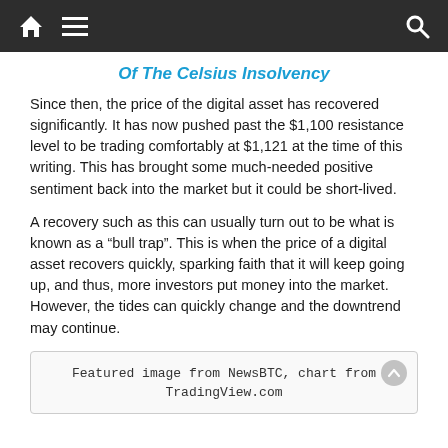navigation bar with home, menu, and search icons
Of The Celsius Insolvency
Since then, the price of the digital asset has recovered significantly. It has now pushed past the $1,100 resistance level to be trading comfortably at $1,121 at the time of this writing. This has brought some much-needed positive sentiment back into the market but it could be short-lived.
A recovery such as this can usually turn out to be what is known as a “bull trap”. This is when the price of a digital asset recovers quickly, sparking faith that it will keep going up, and thus, more investors put money into the market. However, the tides can quickly change and the downtrend may continue.
Featured image from NewsBTC, chart from TradingView.com